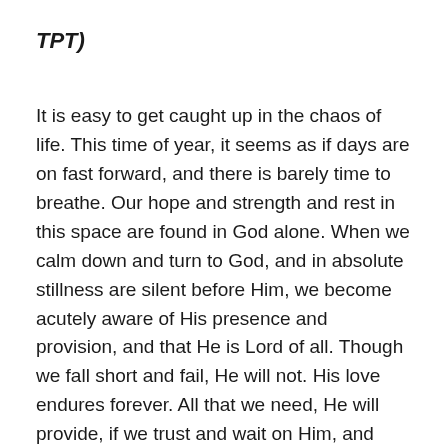TPT)
It is easy to get caught up in the chaos of life. This time of year, it seems as if days are on fast forward, and there is barely time to breathe. Our hope and strength and rest in this space are found in God alone. When we calm down and turn to God, and in absolute stillness are silent before Him, we become acutely aware of His presence and provision, and that He is Lord of all. Though we fall short and fail, He will not. His love endures forever. All that we need, He will provide, if we trust and wait on Him, and listen to His leading. May we